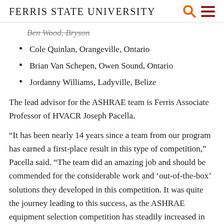Ferris State University
Cole Quinlan, Orangeville, Ontario
Brian Van Schepen, Owen Sound, Ontario
Jordanny Williams, Ladyville, Belize
The lead advisor for the ASHRAE team is Ferris Associate Professor of HVACR Joseph Pacella.
“It has been nearly 14 years since a team from our program has earned a first-place result in this type of competition,” Pacella said. “The team did an amazing job and should be commended for the considerable work and ‘out-of-the-box’ solutions they developed in this competition. It was quite the journey leading to this success, as the ASHRAE equipment selection competition has steadily increased in its challenges since 1997. Although our team has earned their degrees and